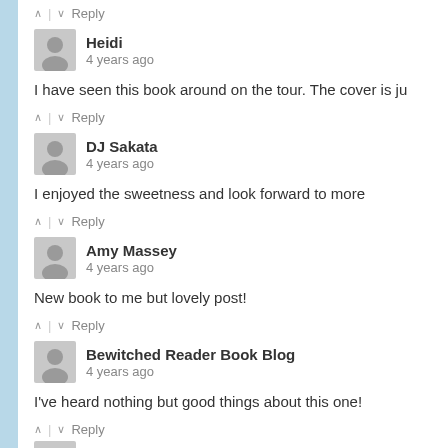^ | v Reply
Heidi
4 years ago
I have seen this book around on the tour. The cover is ju
^ | v Reply
DJ Sakata
4 years ago
I enjoyed the sweetness and look forward to more
^ | v Reply
Amy Massey
4 years ago
New book to me but lovely post!
^ | v Reply
Bewitched Reader Book Blog
4 years ago
I've heard nothing but good things about this one!
^ | v Reply